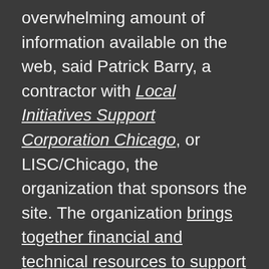overwhelming amount of information available on the web, said Patrick Barry, a contractor with Local Initiatives Support Corporation Chicago, or LISC/Chicago, the organization that sponsors the site. The organization brings together financial and technical resources to support community-building groups to develop infrastructure, housing, employment and other assets in Chicago neighborhoods.

The Neighborhood News Bureau site aggregates news from organizations supported by LISC/Chicago, ones reporting on neighborhoods where LISC/Chicago sponsors